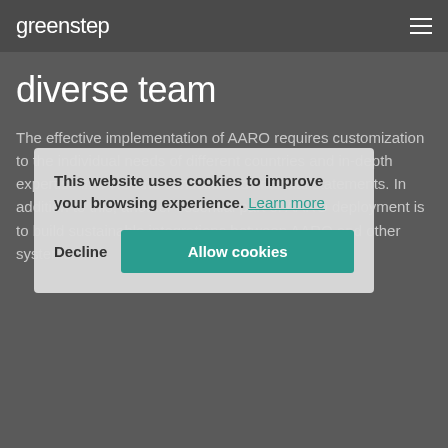greenstep
diverse team
The effective implementation of AARO requires customization to the individual needs of different countries and in-depth expertise in IFRS and consolidated financial statements. In addition to this, another essential part of AARO deployment is to build sustainable integrations between AARO and other systems.
This website uses cookies to improve your browsing experience. Learn more
At Greenstep, AARO's implementation is supported by an extensive CFO team of 40